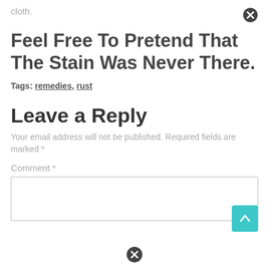cloth.
Feel Free To Pretend That The Stain Was Never There.
Tags: remedies, rust
Leave a Reply
Your email address will not be published. Required fields are marked *
Comment *